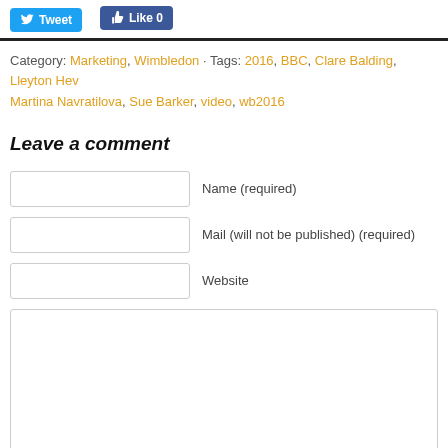[Figure (other): Social media share buttons: Tweet (Twitter, blue) and Like 0 (Facebook, blue)]
Category: Marketing, Wimbledon · Tags: 2016, BBC, Clare Balding, Lleyton Hew..., Martina Navratilova, Sue Barker, video, wb2016
Leave a comment
Name (required)
Mail (will not be published) (required)
Website